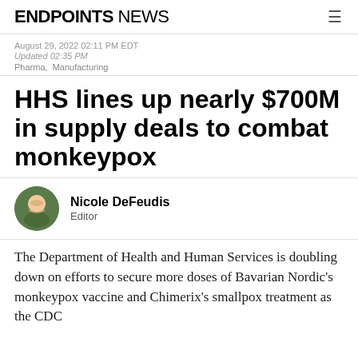ENDPOINTS NEWS
August 29, 2022 02:11 PM EDT
Updated 02:35 PM
Pharma, Manufacturing
HHS lines up nearly $700M in supply deals to combat monkeypox
Nicole DeFeudis
Editor
The Department of Health and Human Services is doubling down on efforts to secure more doses of Bavarian Nordic's monkeypox vaccine and Chimerix's smallpox treatment as the CDC